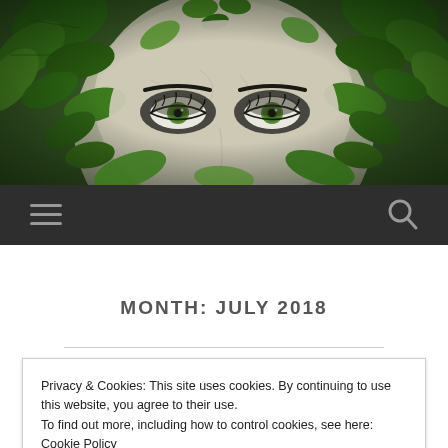[Figure (illustration): Close-up illustration of a mysterious woman's face partially obscured by green ivy leaves, with striking green eyes and dark eye makeup, on a cracked pale skin texture background.]
≡  🔍
MONTH: JULY 2018
Privacy & Cookies: This site uses cookies. By continuing to use this website, you agree to their use.
To find out more, including how to control cookies, see here: Cookie Policy
Close and accept
via Catch the Moon, Mary – the MOVIE